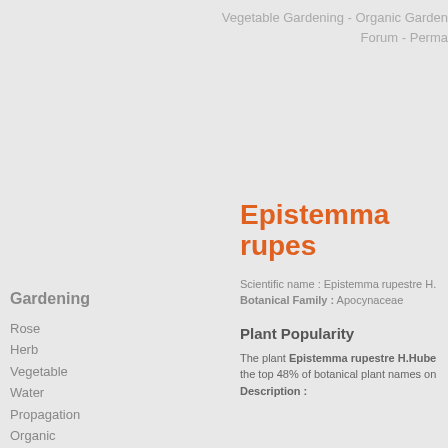Vegetable Gardening - Organic Garden Forum  - Perma
Epistemma rupes
Gardening
Rose
Herb
Vegetable
Water
Propagation
Organic
Growing Fruit
Growing Tomatoes
Composting
Soil
All about Sheds
Container
Hydroponics
Flower
Scientific name : Epistemma rupestre H.
Botanical Family : Apocynaceae
Plant Popularity
The plant Epistemma rupestre H.Hube the top 48% of botanical plant names on
Description :